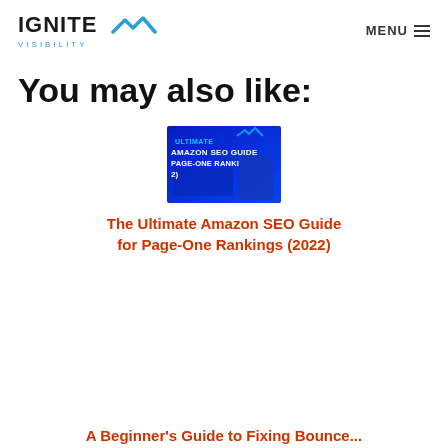IGNITE VISIBILITY | MENU
You may also like:
[Figure (photo): Thumbnail image for Amazon SEO Guide article showing blue-lit keyboard/phone with text 'ULTIMATE AMAZON SEO GUIDE PAGE-ONE RANKINGS']
The Ultimate Amazon SEO Guide for Page-One Rankings (2022)
A Beginner's Guide to Fixing Bounce...